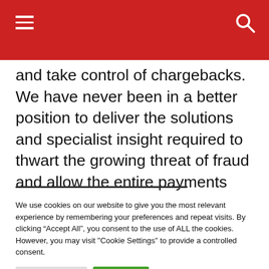and take control of chargebacks. We have never been in a better position to deliver the solutions and specialist insight required to thwart the growing threat of fraud and allow the entire payments ecosystem to thrive.”
We use cookies on our website to give you the most relevant experience by remembering your preferences and repeat visits. By clicking “Accept All”, you consent to the use of ALL the cookies. However, you may visit "Cookie Settings" to provide a controlled consent.